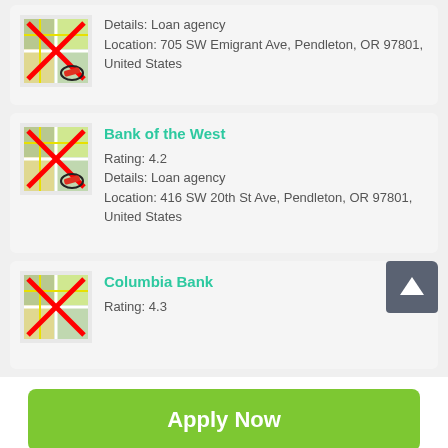Details: Loan agency
Location: 705 SW Emigrant Ave, Pendleton, OR 97801, United States
Bank of the West
Rating: 4.2
Details: Loan agency
Location: 416 SW 20th St Ave, Pendleton, OR 97801, United States
Columbia Bank
Rating: 4.3
[Figure (screenshot): Apply Now green button with text 'Applying does NOT affect your credit score! No credit check to apply.']